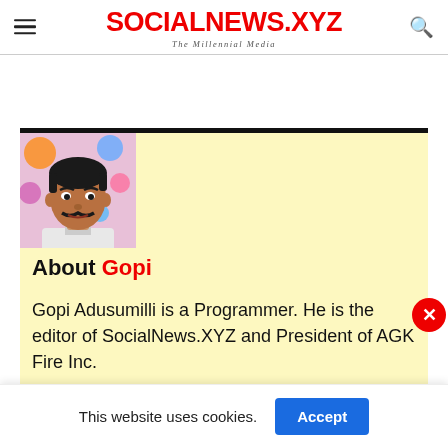SOCIALNEWS.XYZ — The Millennial Media
[Figure (photo): Photo of Gopi Adusumilli, a man with dark hair and mustache, against a colorful background]
About Gopi
Gopi Adusumilli is a Programmer. He is the editor of SocialNews.XYZ and President of AGK Fire Inc.
This website uses cookies.